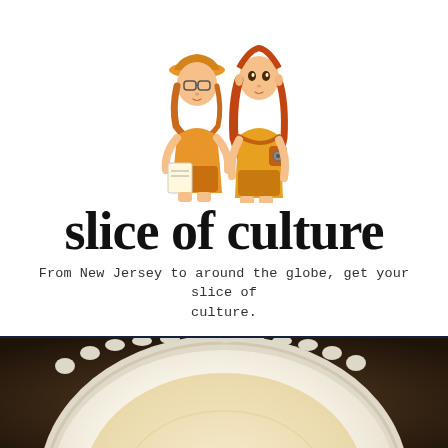[Figure (illustration): Anime-style illustration of two young women in orange outfits. The left figure wears a bucket hat and glasses and holds a notepad; the right figure has long red hair and carries a camera bag.]
slice of culture
From New Jersey to around the globe, get your slice of culture.
[Figure (other): Dark navy navigation bar with a hamburger menu icon (three horizontal white lines) centered.]
[Figure (photo): Close-up photograph of a decorative white plate with an embossed scalloped border, containing a light-colored food (likely soup or a creamy dish), viewed from above on a dark background.]